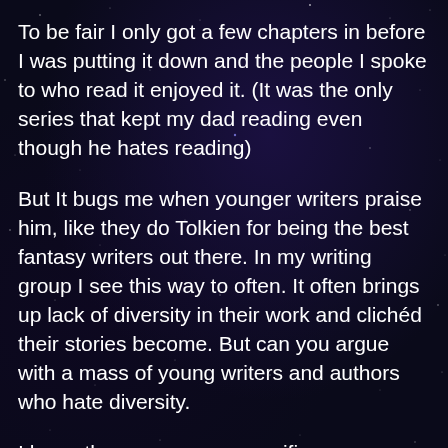To be fair I only got a few chapters in before I was putting it down and the people I spoke to who read it enjoyed it. (It was the only series that kept my dad reading even though he hates reading)
But It bugs me when younger writers praise him, like they do Tolkien for being the best fantasy writers out there. In my writing group I see this way to often. It often brings up lack of diversity in their work and clichéd their stories become. But can you argue with a mass of young writers and authors who hate diversity.
I knew there was some specific reasons why his work bugged me and I didn't get far enough to be able to articulate them. Thanks for the article!